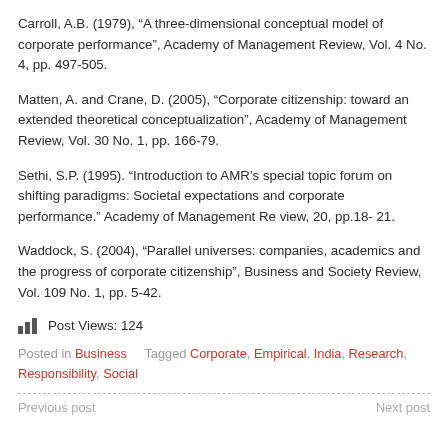Carroll, A.B. (1979), “A three-dimensional conceptual model of corporate performance”, Academy of Management Review, Vol. 4 No. 4, pp. 497-505.
Matten, A. and Crane, D. (2005), “Corporate citizenship: toward an extended theoretical conceptualization”, Academy of Management Review, Vol. 30 No. 1, pp. 166-79.
Sethi, S.P. (1995). “Introduction to AMR’s special topic forum on shifting paradigms: Societal expectations and corporate performance.” Academy of Management Re view, 20, pp.18- 21.
Waddock, S. (2004), “Parallel universes: companies, academics and the progress of corporate citizenship”, Business and Society Review, Vol. 109 No. 1, pp. 5-42.
Post Views: 124
Posted in Business   Tagged Corporate, Empirical, India, Research, Responsibility, Social
Previous post   Next post